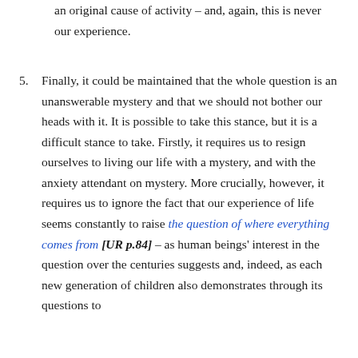an original cause of activity – and, again, this is never our experience.
5. Finally, it could be maintained that the whole question is an unanswerable mystery and that we should not bother our heads with it. It is possible to take this stance, but it is a difficult stance to take. Firstly, it requires us to resign ourselves to living our life with a mystery, and with the anxiety attendant on mystery. More crucially, however, it requires us to ignore the fact that our experience of life seems constantly to raise the question of where everything comes from [UR p.84] – as human beings' interest in the question over the centuries suggests and, indeed, as each new generation of children also demonstrates through its questions to